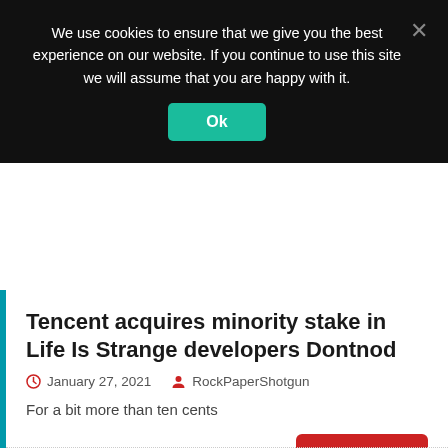We use cookies to ensure that we give you the best experience on our website. If you continue to use this site we will assume that you are happy with it.
Ok
Tencent acquires minority stake in Life Is Strange developers Dontnod
January 27, 2021   RockPaperShotgun
For a bit more than ten cents
READ MORE